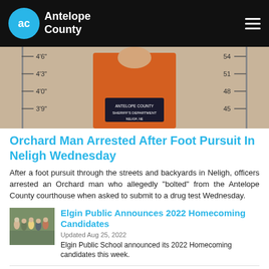Antelope County
[Figure (photo): Mugshot photo of a person in an orange jumpsuit holding an Antelope County Sheriff's Department sign, standing against a height measurement chart showing 3'9" to 4'6" on left and 45 to 54 on right]
Orchard Man Arrested After Foot Pursuit In Neligh Wednesday
After a foot pursuit through the streets and backyards in Neligh, officers arrested an Orchard man who allegedly "bolted" from the Antelope County courthouse when asked to submit to a drug test Wednesday.
[Figure (photo): Group photo of Elgin Public Homecoming Candidates 2022]
Elgin Public Announces 2022 Homecoming Candidates
Updated Aug 25, 2022
Elgin Public School announced its 2022 Homecoming candidates this week.
[Figure (photo): Thumbnail photo placeholder for Elkhorn Valley article]
Elkhorn Valley Announces 2022